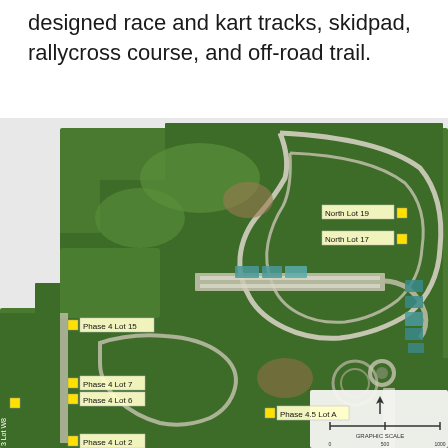designed race and kart tracks, skidpad, rallycross course, and off-road trail.
[Figure (map): Aerial/satellite map of a motorsport facility showing race tracks, kart tracks, and various lots labeled with yellow square markers. Labels include: North Lot 19, North Lot 17, Phase 4 Lot 15, Phase 4 Lot 7, Phase 4 Lot 6, Phase 4.5 Lot A, Phase 3 Lot W9, Phase 4 Lot 2, Phase 3 Lot W8 (partially visible). A north arrow and scale bar are shown in the lower right corner.]